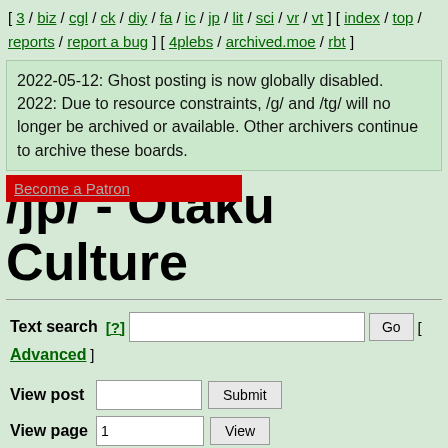[ 3 / biz / cgl / ck / diy / fa / ic / jp / lit / sci / vr / vt ] [ index / top / reports / report a bug ] [ 4plebs / archived.moe / rbt ]
2022-05-12: Ghost posting is now globally disabled. 2022: Due to resource constraints, /g/ and /tg/ will no longer be archived or available. Other archivers continue to archive these boards.
/jp/ - Otaku Culture
Text search [?]  Go  [ Advanced ]
View post  Submit
View page  1  View
[ Toggle deleted replies ]
File: 437 KB, 1453x2048, IMG_20210128_133515.jpg [View same] [iqdb] [saucenao] [google]
Anonymous Thu Jan 28 12:29:39 2021 No. 32933377